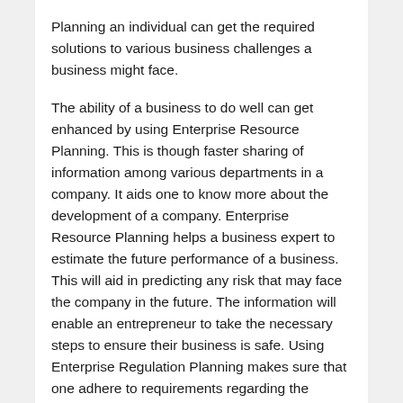Planning an individual can get the required solutions to various business challenges a business might face.
The ability of a business to do well can get enhanced by using Enterprise Resource Planning. This is though faster sharing of information among various departments in a company. It aids one to know more about the development of a company. Enterprise Resource Planning helps a business expert to estimate the future performance of a business. This will aid in predicting any risk that may face the company in the future. The information will enable an entrepreneur to take the necessary steps to ensure their business is safe. Using Enterprise Regulation Planning makes sure that one adhere to requirements regarding the company. The use of Enterprise Resource Planning enables a person to give a quick response according to the information they receive. Applyinmg Enterprise Resource Planning is essential in making the work of employees easy. This is due to the technology applied to share information within diverse departments in a company.